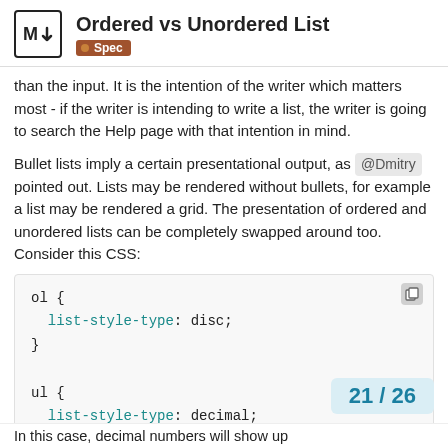Ordered vs Unordered List — Spec
than the input. It is the intention of the writer which matters most - if the writer is intending to write a list, the writer is going to search the Help page with that intention in mind.
Bullet lists imply a certain presentational output, as @Dmitry pointed out. Lists may be rendered without bullets, for example a list may be rendered a grid. The presentation of ordered and unordered lists can be completely swapped around too. Consider this CSS:
ol {
  list-style-type: disc;
}

ul {
  list-style-type: decimal;
}
In this case, decimal numbers will show up